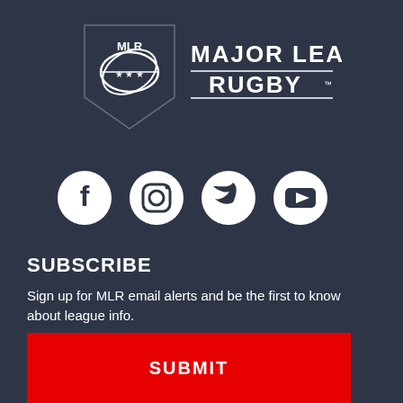[Figure (logo): Major League Rugby logo with shield emblem and text MAJOR LEAGUE RUGBY with TM mark]
[Figure (infographic): Row of four social media icons: Facebook, Instagram, Twitter, YouTube - white on dark background]
SUBSCRIBE
Sign up for MLR email alerts and be the first to know about league info.
Enter email address
SUBMIT